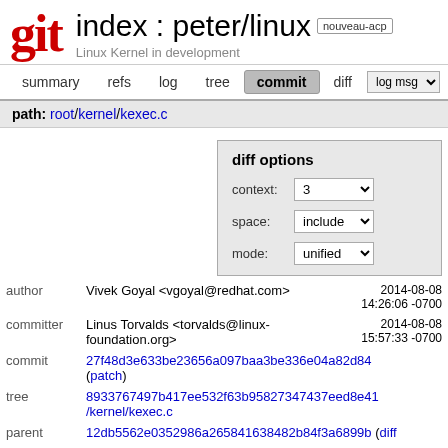git  index : peter/linux  nouveau-acp
Linux Kernel in development
summary  refs  log  tree  commit  diff  log msg
path: root/kernel/kexec.c
diff options
context: 3
space: include
mode: unified
author  Vivek Goyal <vgoyal@redhat.com>  2014-08-08 14:26:06 -0700
committer  Linus Torvalds <torvalds@linux-foundation.org>  2014-08-08 15:57:33 -0700
commit  27f48d3e633be23656a097baa3be336e04a82d84 (patch)
tree  8933767497b417ee532f63b95827347437eed8e41 /kernel/kexec.c
parent  12db5562e0352986a265841638482b84f3a6899b (diff